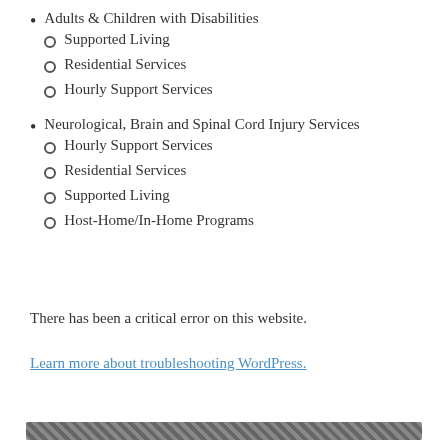Adults & Children with Disabilities
Supported Living
Residential Services
Hourly Support Services
Neurological, Brain and Spinal Cord Injury Services
Hourly Support Services
Residential Services
Supported Living
Host-Home/In-Home Programs
There has been a critical error on this website.
Learn more about troubleshooting WordPress.